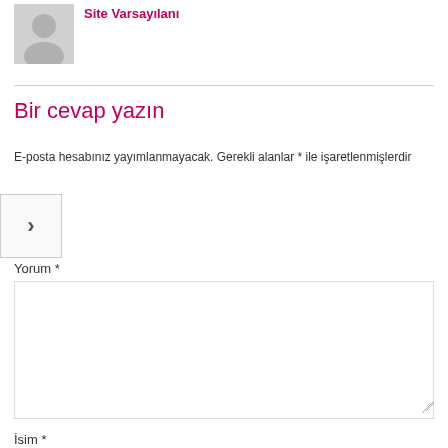[Figure (illustration): Default user avatar (grey silhouette of a person on light background)]
Site Varsayılanı
Bir cevap yazın
E-posta hesabınız yayımlanmayacak. Gerekli alanlar * ile işaretlenmişlerdir
Yorum *
İsim *